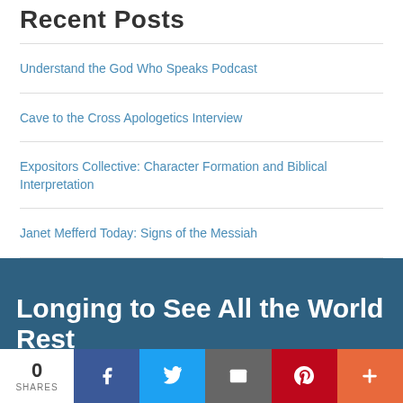Recent Posts
Understand the God Who Speaks Podcast
Cave to the Cross Apologetics Interview
Expositors Collective: Character Formation and Biblical Interpretation
Janet Mefferd Today: Signs of the Messiah
Longing to See All the World Rest
0 SHARES